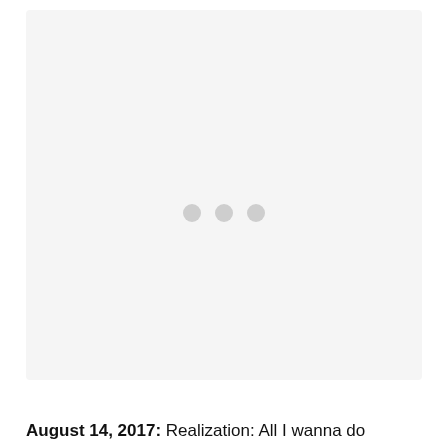[Figure (photo): Large light gray placeholder image area with three gray loading dots centered in the middle, indicating an image that has not loaded.]
August 14, 2017: Realization: All I wanna do